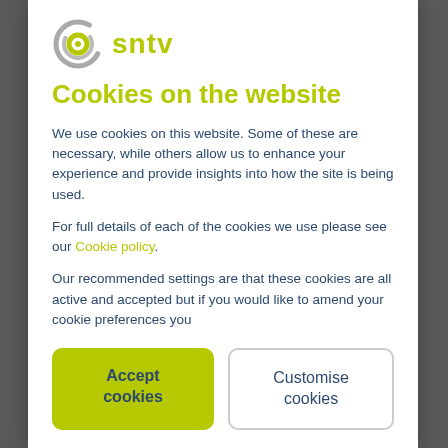[Figure (logo): SNTV logo — circular grey arc with yellow-green inner circle, followed by 'sntv' text in yellow-green]
Cookies on the website
We use cookies on this website. Some of these are necessary, while others allow us to enhance your experience and provide insights into how the site is being used.
For full details of each of the cookies we use please see our Cookie policy.
Our recommended settings are that these cookies are all active and accepted but if you would like to amend your cookie preferences you
Accept cookies
Customise cookies